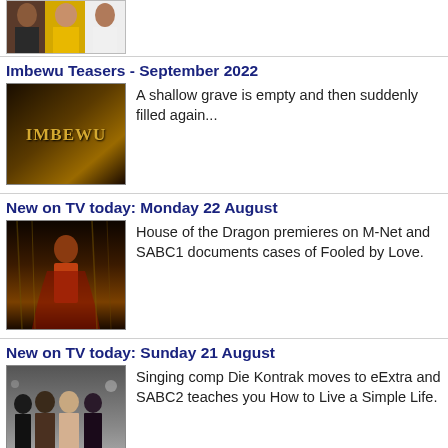[Figure (photo): Partial top thumbnail showing three people (two women and a man), cropped at top of page]
Imbewu Teasers - September 2022
[Figure (photo): Imbewu TV show logo image with golden text on dark background]
A shallow grave is empty and then suddenly filled again...
New on TV today: Monday 22 August
[Figure (photo): House of the Dragon promotional image showing a figure in red costume against a dark dramatic background]
House of the Dragon premieres on M-Net and SABC1 documents cases of Fooled by Love.
New on TV today: Sunday 21 August
[Figure (photo): Die Kontrak show promotional image showing four people posing together]
Singing comp Die Kontrak moves to eExtra and SABC2 teaches you How to Live a Simple Life.
New on TV today: Saturday 20 August
[Figure (photo): Dramatic scene from HISTORY channel showing a figure in a misty environment]
HISTORY goes back in time when I Was There, as CBS Reality documents My Extreme OCD Life.